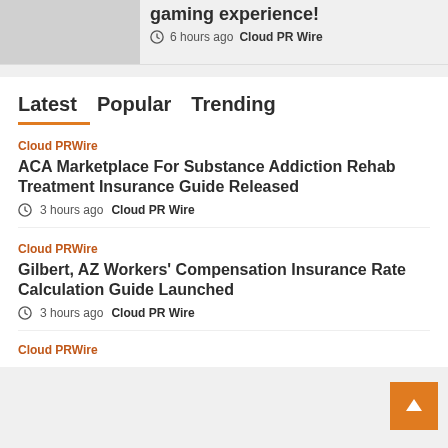[Figure (photo): Gray placeholder image in top left corner]
gaming experience!
6 hours ago  Cloud PR Wire
Latest  Popular  Trending
Cloud PRWire
ACA Marketplace For Substance Addiction Rehab Treatment Insurance Guide Released
3 hours ago  Cloud PR Wire
Cloud PRWire
Gilbert, AZ Workers' Compensation Insurance Rate Calculation Guide Launched
3 hours ago  Cloud PR Wire
Cloud PRWire